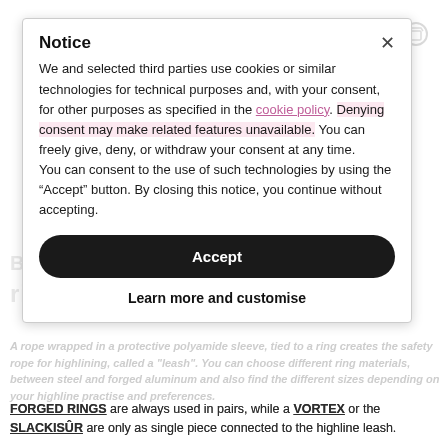Notice
We and selected third parties use cookies or similar technologies for technical purposes and, with your consent, for other purposes as specified in the cookie policy. Denying consent may make related features unavailable. You can freely give, deny, or withdraw your consent at any time.
You can consent to the use of such technologies by using the “Accept” button. By closing this notice, you continue without accepting.
Accept
Learn more and customise
FORGED RINGS are always used in pairs, while a VORTEX or the SLACKISÛR are only as single piece connected to the highline leash.